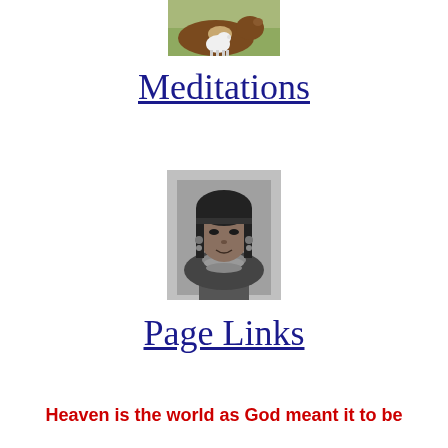[Figure (photo): A cow lying in green grass with a small white lamb]
Meditations
[Figure (photo): Black and white portrait photograph of a young woman wearing traditional jewelry and a headband]
Page Links
Heaven is the world as God meant it to be